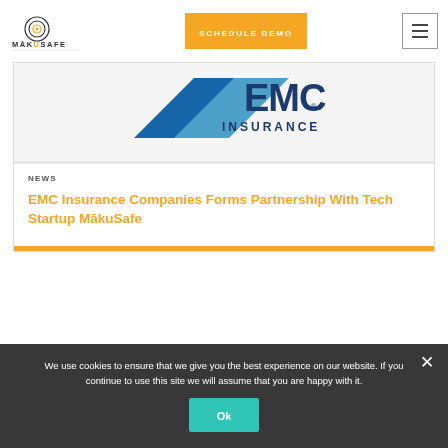[Figure (logo): MākuSafe logo — company name with circular icon above the U]
SCHEDULE DEMO
[Figure (logo): EMC Insurance logo — blue diagonal shape with EMC INSURANCE text]
NEWS
EMC Insurance Companies Forms Partnership With Tech Startup MākuSafe
We use cookies to ensure that we give you the best experience on our website. If you continue to use this site we will assume that you are happy with it.
Ok